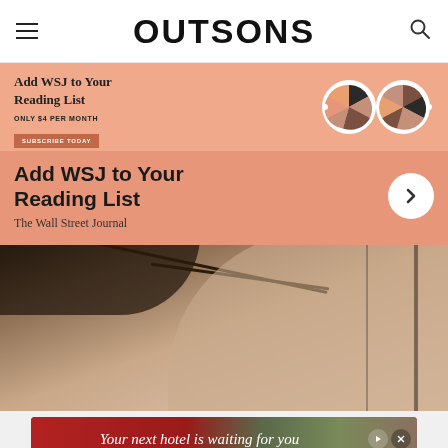OUTSONS
[Figure (screenshot): WSJ advertisement banner with salmon/coral background. Top half shows text 'Add WSJ to Your Reading List', 'ONLY $4 PER MONTH', 'SUBSCRIBE TODAY' button, and illustrated glasses icon. Bottom half has large bold text 'Add WSJ to Your Reading List', subtext 'The Wall Street Journal', and a circular arrow button.]
[Figure (photo): Close-up photo of a person's bare shoulder and neck from behind, with a dark cord/necklace visible, against a blurred background with dark vertical lines.]
[Figure (screenshot): Bottom advertisement banner with red background showing text 'Your next hotel is waiting for you' with a play button and close button on the right side, and a landscape/hotel image visible.]